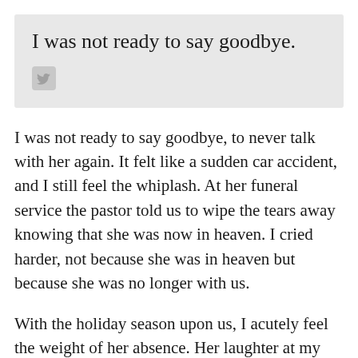I was not ready to say goodbye.
[Figure (logo): Twitter bird icon in light gray]
I was not ready to say goodbye, to never talk with her again. It felt like a sudden car accident, and I still feel the whiplash. At her funeral service the pastor told us to wipe the tears away knowing that she was now in heaven. I cried harder, not because she was in heaven but because she was no longer with us.
With the holiday season upon us, I acutely feel the weight of her absence. Her laughter at my